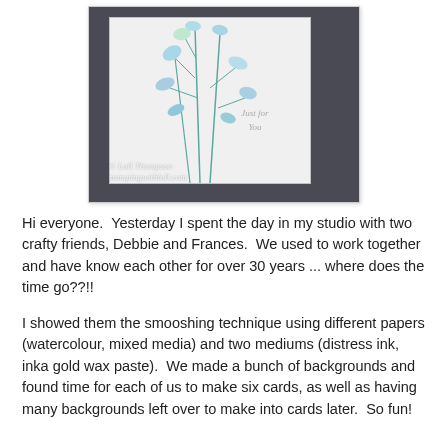[Figure (photo): A handmade greeting card with blue watercolour floral stems and leaves on white card stock, with cursive text 'Just for You' in the lower right. The card is displayed against a dark background. A watermark reads '© Loll Thompson stampingwithloll.com'.]
Hi everyone.  Yesterday I spent the day in my studio with two crafty friends, Debbie and Frances.  We used to work together and have know each other for over 30 years ... where does the time go??!!
I showed them the smooshing technique using different papers (watercolour, mixed media) and two mediums (distress ink, inka gold wax paste).  We made a bunch of backgrounds and found time for each of us to make six cards, as well as having many backgrounds left over to make into cards later.  So fun!